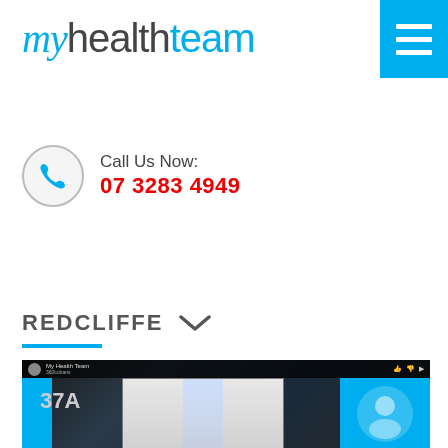[Figure (logo): My Health Team logo with italic blue 'my' and grey/blue 'healthteam' text]
Call Us Now:
07 3283 4949
REDCLIFFE
[Figure (screenshot): Screenshot/photo of My Health Team clinic storefront at 37A showing entrance corridor with blue branding panels and myhealthteam signage]